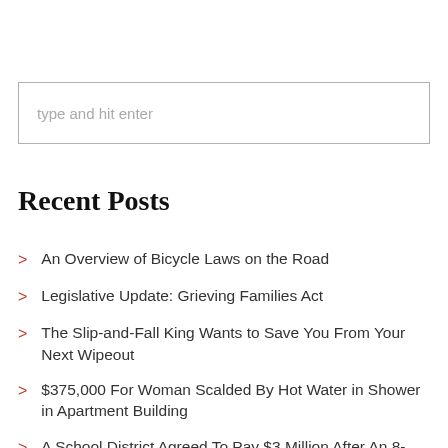[Figure (other): Search input box with placeholder text 'type and hit enter']
Recent Posts
An Overview of Bicycle Laws on the Road
Legislative Update: Grieving Families Act
The Slip-and-Fall King Wants to Save You From Your Next Wipeout
$375,000 For Woman Scalded By Hot Water in Shower in Apartment Building
A School District Agreed To Pay $3 Million After An 8-Year-Old Who Was Bullied Killed Himself